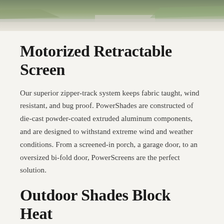[Figure (photo): Outdoor photo strip showing a driveway or patio area with grass and concrete surface visible from above]
Motorized Retractable Screen
Our superior zipper-track system keeps fabric taught, wind resistant, and bug proof. PowerShades are constructed of die-cast powder-coated extruded aluminum components, and are designed to withstand extreme wind and weather conditions. From a screened-in porch, a garage door, to an oversized bi-fold door, PowerScreens are the perfect solution.
Outdoor Shades Block Heat
As a motorized sun shade or motorized solar shade, PowerScreens act by stopping the sun's rays before